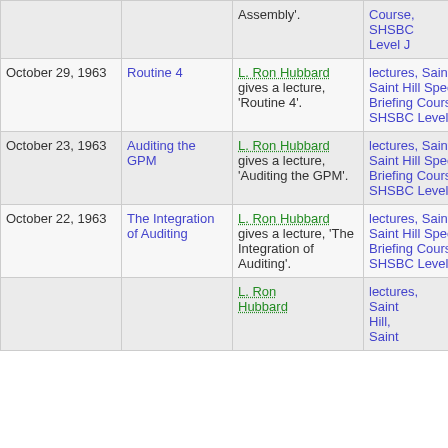| Date | Title | Description | Course |
| --- | --- | --- | --- |
|  |  | Assembly'. | Course, SHSBC Level J |
| October 29, 1963 | Routine 4 | L. Ron Hubbard gives a lecture, 'Routine 4'. | lectures, Saint Hill, Saint Hill Special Briefing Course, SHSBC Level J |
| October 23, 1963 | Auditing the GPM | L. Ron Hubbard gives a lecture, 'Auditing the GPM'. | lectures, Saint Hill, Saint Hill Special Briefing Course, SHSBC Level J |
| October 22, 1963 | The Integration of Auditing | L. Ron Hubbard gives a lecture, 'The Integration of Auditing'. | lectures, Saint Hill, Saint Hill Special Briefing Course, SHSBC Level J |
|  |  | L. Ron Hubbard... | lectures, Saint Hill, Saint... |